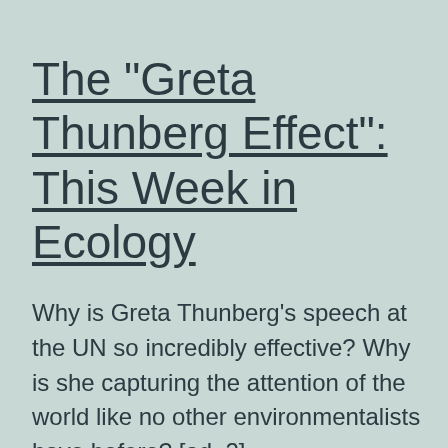The "Greta Thunberg Effect": This Week in Ecology
Why is Greta Thunberg’s speech at the UN so incredibly effective? Why is she capturing the attention of the world like no other environmentalists have before? [ad_2]